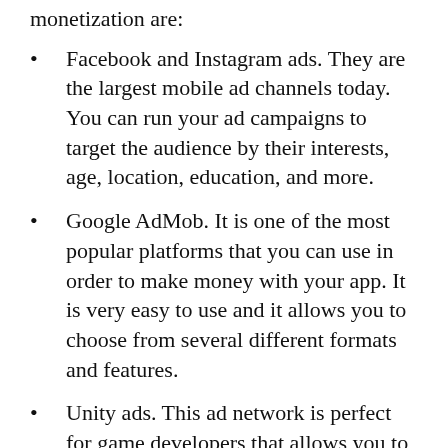monetization are:
Facebook and Instagram ads. They are the largest mobile ad channels today. You can run your ad campaigns to target the audience by their interests, age, location, education, and more.
Google AdMob. It is one of the most popular platforms that you can use in order to make money with your app. It is very easy to use and it allows you to choose from several different formats and features.
Unity ads. This ad network is perfect for game developers that allows you to reach over a billion devices.
Applovin. This network is recommended to you if you want to analyze your users, and your purpose is to acquire high-quality customers.
Freemium Model